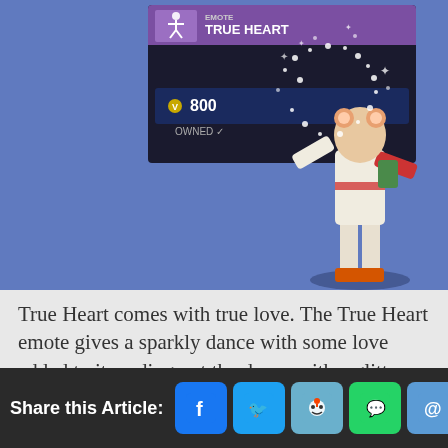[Figure (screenshot): Screenshot of a Fortnite game interface showing the True Heart emote item with a purple banner labeled 'TRUE HEART', price of 800 V-Bucks marked as OWNED, and a character performing the dance animation with sparkly heart effects on a blue background.]
True Heart comes with true love. The True Heart emote gives a sparkly dance with some love added to it, ending out the dance with a glitter heart that your character makes. It's a sweet and cute "Powerpuff" girl type of dance, look and sound to it. This dance was introduced to Fortnite back on July 7th, 2018, and has been a lot of people's favorites for a
Share this Article: [Facebook] [Twitter] [Reddit] [WhatsApp] [Email]